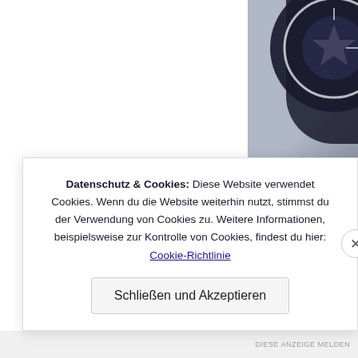[Figure (photo): Partial view of a circular dark object (stamp or seal) on a gray/silver background, cropped at top-right corner of the page.]
Danach habe ich noch auf den Stamper übe gewartet und ei Trocknungszeit habe
Datenschutz & Cookies: Diese Website verwendet Cookies. Wenn du die Website weiterhin nutzt, stimmst du der Verwendung von Cookies zu. Weitere Informationen, beispielsweise zur Kontrolle von Cookies, findest du hier: Cookie-Richtlinie
Schließen und Akzeptieren
DIESE ANZEIGE MELDEN